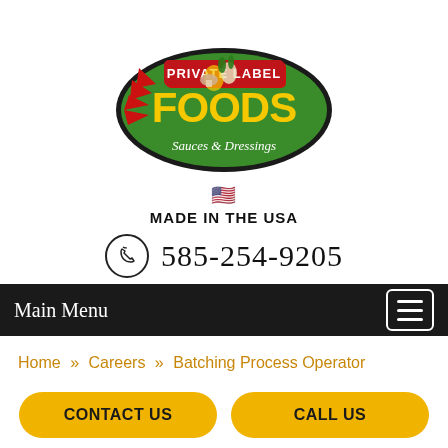[Figure (logo): Private Label Foods Sauces & Dressings logo — green oval with yellow stylized text 'FOODS', red banner reading 'PRIVATE LABEL', vegetables illustration, red starburst rays on left]
🇺🇸 MADE IN THE USA
☎ 585-254-9205
Main Menu
Home » Careers » Batching Process Operator
BATCHING
CONTACT US
CALL US